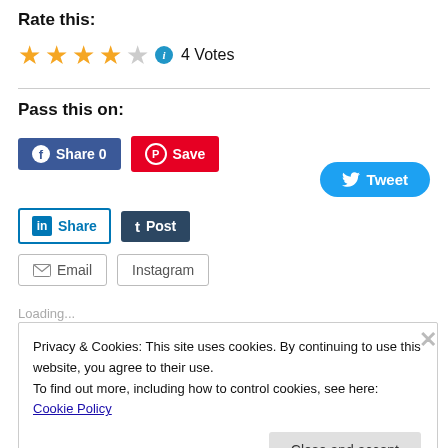Rate this:
★★★★☆ ℹ 4 Votes
Pass this on:
Share 0 | Save | Tweet | Share | Post | Email | Instagram
Loading...
Privacy & Cookies: This site uses cookies. By continuing to use this website, you agree to their use.
To find out more, including how to control cookies, see here: Cookie Policy
Close and accept